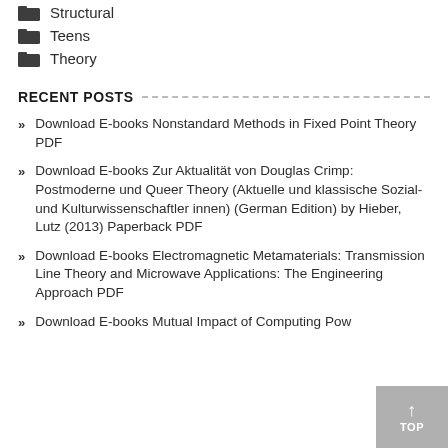Structural
Teens
Theory
RECENT POSTS
Download E-books Nonstandard Methods in Fixed Point Theory PDF
Download E-books Zur Aktualität von Douglas Crimp: Postmoderne und Queer Theory (Aktuelle und klassische Sozial- und Kulturwissenschaftler innen) (German Edition) by Hieber, Lutz (2013) Paperback PDF
Download E-books Electromagnetic Metamaterials: Transmission Line Theory and Microwave Applications: The Engineering Approach PDF
Download E-books Mutual Impact of Computing Pow…